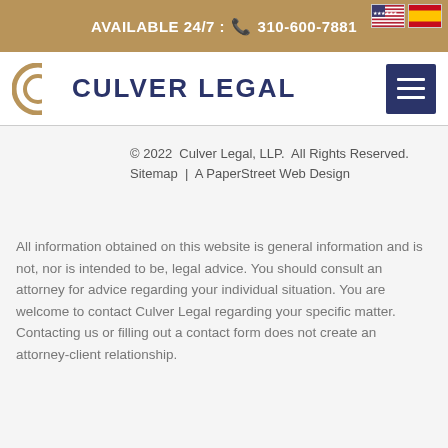AVAILABLE 24/7 : 310-600-7881
[Figure (logo): Culver Legal logo with stylized C and company name]
© 2022  Culver Legal, LLP.  All Rights Reserved. Sitemap  |  A PaperStreet Web Design
All information obtained on this website is general information and is not, nor is intended to be, legal advice. You should consult an attorney for advice regarding your individual situation. You are welcome to contact Culver Legal regarding your specific matter. Contacting us or filling out a contact form does not create an attorney-client relationship.